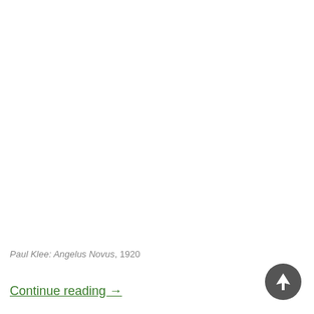Paul Klee: Angelus Novus, 1920
Continue reading →